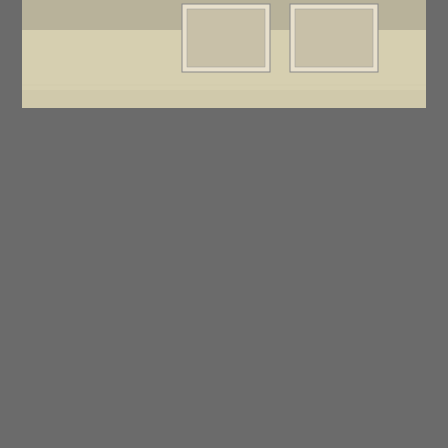[Figure (photo): Partial top photo showing framed artworks or documents hanging on a wall, cropped at the top]
[Figure (photo): Gallery installation photo showing colorful tall rectangular column sculptures in a white gallery space with track lighting. Columns include white/cream, black, blue, white, and yellow forms standing on a bright white floor.]
Probably Hopps is right about the Eastern Shore influence of colour and light on Truitt's work; she